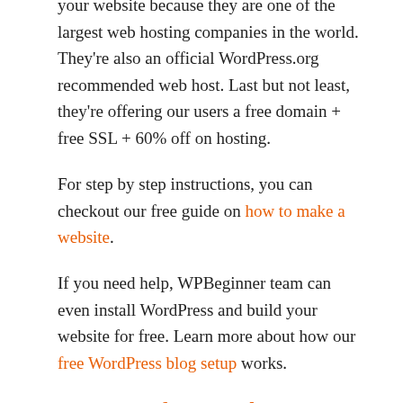We recommend using Bluehost for hosting your website because they are one of the largest web hosting companies in the world. They're also an official WordPress.org recommended web host. Last but not least, they're offering our users a free domain + free SSL + 60% off on hosting.
For step by step instructions, you can checkout our free guide on how to make a website.
If you need help, WPBeginner team can even install WordPress and build your website for free. Learn more about how our free WordPress blog setup works.
Can I move from WordPress.com to WordPress.org?
Often you can learn about the differ...